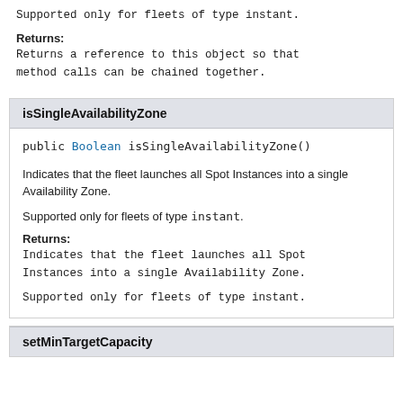Supported only for fleets of type instant.
Returns:
Returns a reference to this object so that method calls can be chained together.
isSingleAvailabilityZone
public Boolean isSingleAvailabilityZone()
Indicates that the fleet launches all Spot Instances into a single Availability Zone.
Supported only for fleets of type instant.
Returns:
Indicates that the fleet launches all Spot Instances into a single Availability Zone.
Supported only for fleets of type instant.
setMinTargetCapacity